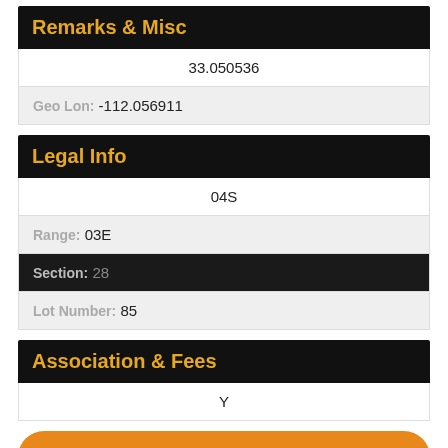Remarks & Misc
33.050536
Geo Lon: -112.056911
Legal Info
04S
Range: 03E
Section: 28
Lot Number: 85
Association & Fees
Y
CALL NOW